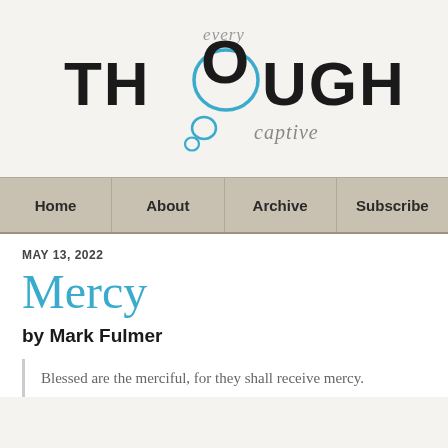[Figure (logo): Every Thought Captive blog logo with thought bubble graphic containing the letter O in THOUGHT, and smaller bubbles below with 'captive' in italic]
Home | About | Archive | Subscribe
MAY 13, 2022
Mercy
by Mark Fulmer
Blessed are the merciful, for they shall receive mercy.